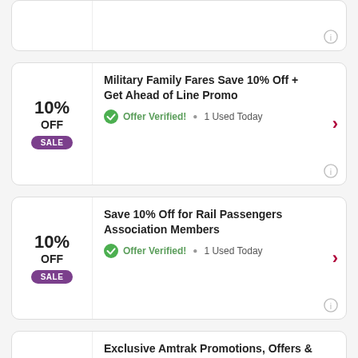[Figure (other): Partial coupon card at top, clipped]
10% OFF SALE — Military Family Fares Save 10% Off + Get Ahead of Line Promo — Offer Verified! • 1 Used Today
10% OFF SALE — Save 10% Off for Rail Passengers Association Members — Offer Verified! • 1 Used Today
SALE — Exclusive Amtrak Promotions, Offers & More with Rewards Sign-Up